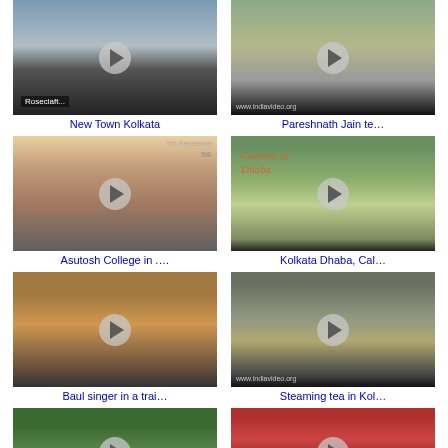[Figure (screenshot): Video thumbnail showing high-rise apartment buildings (Roseclaft), New Town Kolkata]
New Town Kolkata
[Figure (screenshot): Video thumbnail showing Pareshnath Jain temple with greenery]
Pareshnath Jain te…
[Figure (screenshot): Video thumbnail showing students at Asutosh College in Kolkata]
Asutosh College in ….
[Figure (screenshot): Video thumbnail showing Colours of Dhaba food items]
Kolkata Dhaba, Cal…
[Figure (screenshot): Video thumbnail showing a Baul singer in a train in yellow clothes]
Baul singer in a trai…
[Figure (screenshot): Video thumbnail showing steaming tea being made in Kolkata]
Steaming tea in Kol…
[Figure (screenshot): Video thumbnail showing a river with green trees]
[Figure (screenshot): Video thumbnail showing a red colonial building in Kolkata]